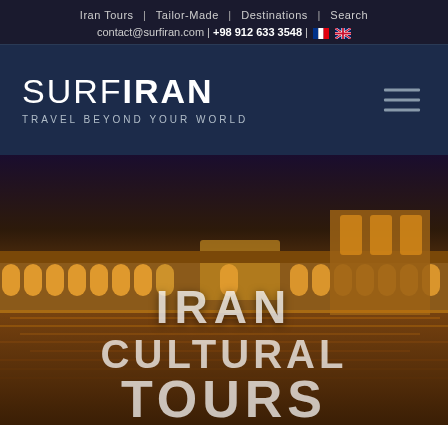Iran Tours | Tailor-Made | Destinations | Search
contact@surfiran.com | +98 912 633 3548 |
SURF IRAN — TRAVEL BEYOND YOUR WORLD
[Figure (photo): Hero image of an illuminated Persian bridge/palace (Khaju Bridge or similar, Isfahan) at dusk reflected in water, with large overlaid text reading IRAN CULTURAL TOURS]